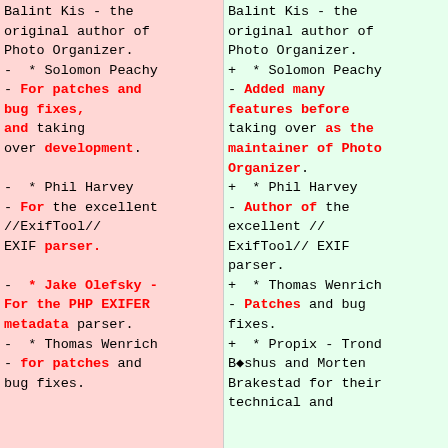Diff view of changelog/credits showing two columns: left (removed, pink) and right (added, green). Left column: Balint Kis - the original author of Photo Organizer. - * Solomon Peachy - For patches and bug fixes, and taking over development. - * Phil Harvey - For the excellent //ExifTool// EXIF parser. - * Jake Olefsky - For the PHP EXIFER metadata parser. - * Thomas Wenrich - for patches and bug fixes. Right column: Balint Kis - the original author of Photo Organizer. + * Solomon Peachy - Added many features before taking over as the maintainer of Photo Organizer. + * Phil Harvey - Author of the excellent // ExifTool// EXIF parser. + * Thomas Wenrich - Patches and bug fixes. + * Propix - Trond B?shus and Morten Brakestad for their technical and...